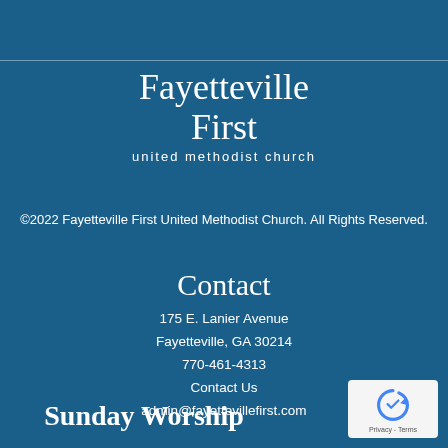[Figure (logo): Fayetteville First United Methodist Church logo - white serif text on blue background]
©2022 Fayetteville First United Methodist Church. All Rights Reserved.
Contact
175 E. Lanier Avenue
Fayetteville, GA 30214
770-461-4313
Contact Us
admin@fayettevillefirst.com
Sunday Worship
[Figure (logo): reCAPTCHA badge with recycling arrow icon and Privacy - Terms text]